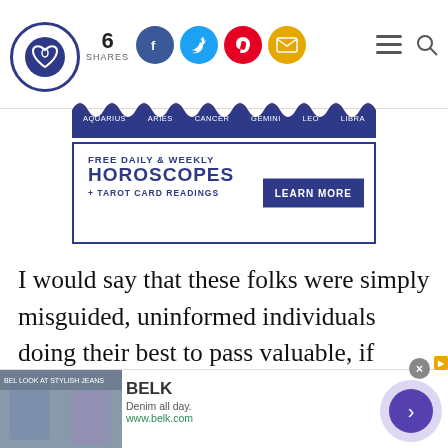[Figure (screenshot): Website header with heart logo, share count of 6, social media icons (Facebook, Twitter, Pinterest, Email), hamburger menu and search icons]
[Figure (screenshot): Navigation bar with zodiac signs: AQUARIUS, ARIES, CANCER, GEMINI, LEO, LIBRA on dark blue background]
[Figure (screenshot): Advertisement banner: FREE DAILY & WEEKLY HOROSCOPES + TAROT CARD READINGS with LEARN MORE button]
I would say that these folks were simply misguided, uninformed individuals doing their best to pass valuable, if ineffective, wisdom on to the next generation.
[Figure (screenshot): Advertisement footer: BELK - Denim all day. www.belk.com with navigation arrow and close button]